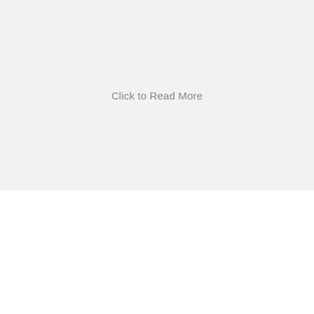Click to Read More
Bookkeeping and Statutory Compliance Services (for Statutory and Management Purpose)
Section 51C of the Hong Kong Inland Revenue